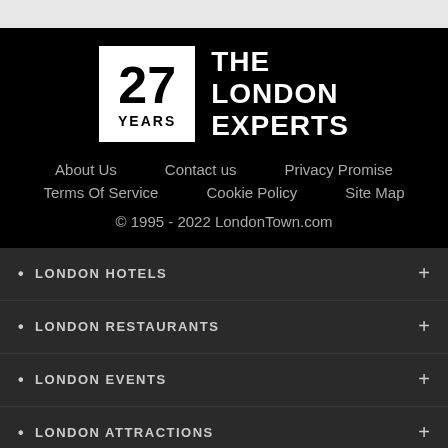[Figure (logo): 27 YEARS / THE LONDON EXPERTS logo — white box with large '27' and 'YEARS' text beside 'THE LONDON EXPERTS' in white on black background]
About Us   Contact us   Privacy Promise
Terms Of Service   Cookie Policy   Site Map
© 1995 - 2022 LondonTown.com
LONDON HOTELS
LONDON RESTAURANTS
LONDON EVENTS
LONDON ATTRACTIONS